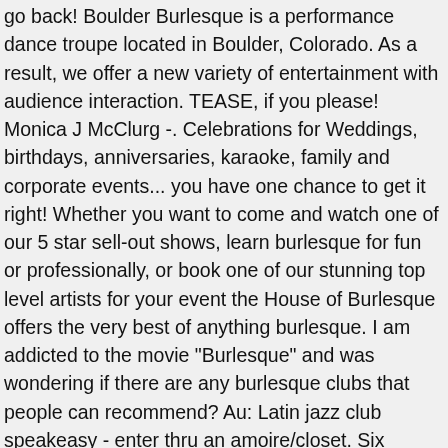go back! Boulder Burlesque is a performance dance troupe located in Boulder, Colorado. As a result, we offer a new variety of entertainment with audience interaction. TEASE, if you please! Monica J McClurg -. Celebrations for Weddings, birthdays, anniversaries, karaoke, family and corporate events... you have one chance to get it right! Whether you want to come and watch one of our 5 star sell-out shows, learn burlesque for fun or professionally, or book one of our stunning top level artists for your event the House of Burlesque offers the very best of anything burlesque. I am addicted to the movie "Burlesque" and was wondering if there are any burlesque clubs that people can recommend? Au: Latin jazz club speakeasy - enter thru an amoire/closet. Six talented members of Gainesville, Florida's Hoggetowne Burlesque join the loveable weirdos of Rogue for a night of classic striptease, neoburlesque, and a whole lot of nerdy fun. Fun Date Night Orlando | Florida Burlesque Show Near Me. Flushed with success, now entering its fourth fabulous year, the world's original touring burlesque spectacular is about to hit town.